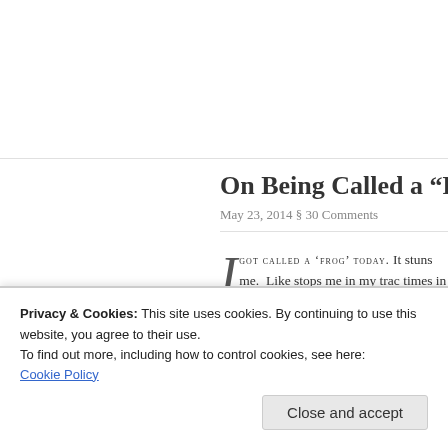On Being Called a “Fro…
May 23, 2014 § 30 Comments
I GOT CALLED A ‘FROG’ TODAY. stuns me. Like stops me in my track times in my life, a few times in Onta Massachusetts. The last time it happ
Matthew Barlow
ABO
BO
FRI
SEI
LIN
Privacy & Cookies: This site uses cookies. By continuing to use this website, you agree to their use.
To find out more, including how to control cookies, see here:
Cookie Policy
Close and accept